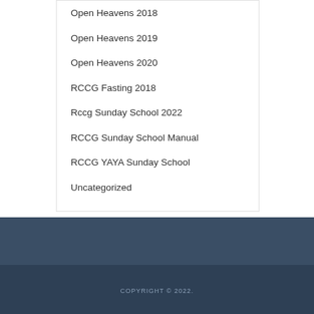Open Heavens 2018
Open Heavens 2019
Open Heavens 2020
RCCG Fasting 2018
Rccg Sunday School 2022
RCCG Sunday School Manual
RCCG YAYA Sunday School
Uncategorized
COPYRIGHT © 2022.